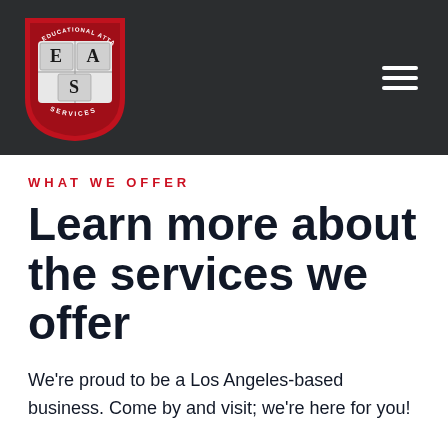Educational Attainment Services — navigation header with logo and hamburger menu
WHAT WE OFFER
Learn more about the services we offer
We're proud to be a Los Angeles-based business. Come by and visit; we're here for you!